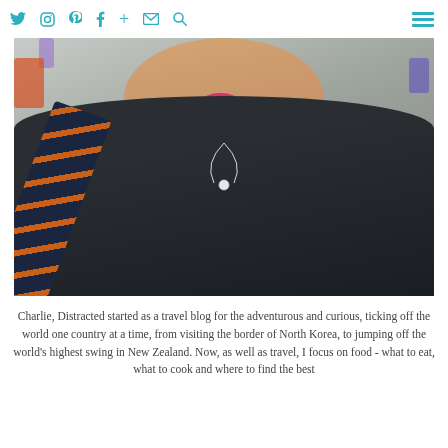Social nav icons: Twitter, Instagram, Pinterest, Facebook, Plus, Email, Search, Hamburger menu
[Figure (photo): Close-up photo of a smiling person with pink lipstick, wearing a black waffle-knit sweater, dark leather jacket, and a decorative patterned bag strap. They wear a delicate silver necklace with a small disc pendant. Background is a light concrete wall with colorful climbing holds.]
Charlie, Distracted started as a travel blog for the adventurous and curious, ticking off the world one country at a time, from visiting the border of North Korea, to jumping off the world's highest swing in New Zealand. Now, as well as travel, I focus on food - what to eat, what to cook and where to find the best